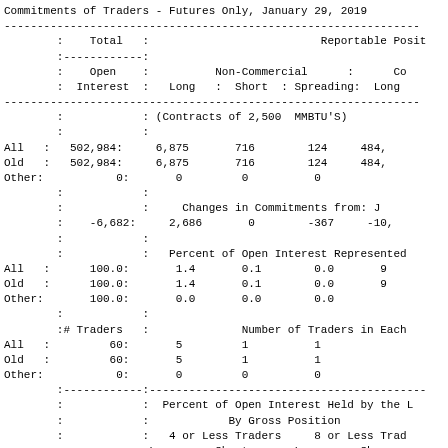Commitments of Traders - Futures Only, January 29, 2019
|  | Total | Open Interest | Non-Commercial Long | Non-Commercial Short | Non-Commercial Spreading | Commercial Long |
| --- | --- | --- | --- | --- | --- | --- |
|  |  | (Contracts of 2,500  MMBTU'S) |  |  |  |  |
| All | 502,984: | 6,875 | 716 | 124 | 484, |
| Old | 502,984: | 6,875 | 716 | 124 | 484, |
| Other: | 0: | 0 | 0 | 0 |  |
|  |  | Changes in Commitments from: J |  |  |  |  |
|  | -6,682: | 2,686 | 0 | -367 | -10, |
|  |  | Percent of Open Interest Represented |  |  |  |  |
| All | 100.0: | 1.4 | 0.1 | 0.0 | 9 |
| Old | 100.0: | 1.4 | 0.1 | 0.0 | 9 |
| Other: | 100.0: | 0.0 | 0.0 | 0.0 |  |
|  | # Traders |  | Number of Traders in Each |  |  |  |
| All | 60: | 5 | 1 | 1 |  |
| Old | 60: | 5 | 1 | 1 |  |
| Other: | 0: | 0 | 0 | 0 |  |
|  |  | Percent of Open Interest Held by the L |  |  |  |  |
|  |  | By Gross Position |  |  |  |  |
|  |  | 4 or Less Traders | Short | 8 or Less Trad | Long | Sh |